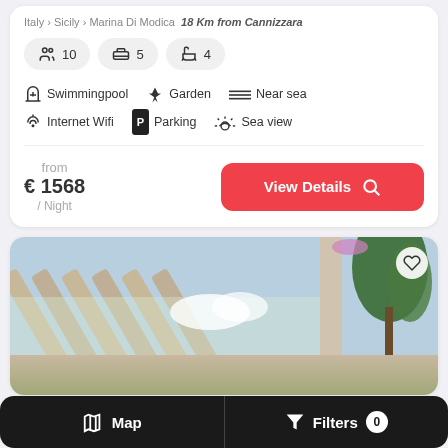Italy > Sicily > Marina Di Modica · 18 Km from Cannizzara
10 guests · 5 bedrooms · 4 bathrooms
Swimmingpool · Garden · Near sea
Internet Wifi · Parking · Sea view
from € 1568 / Night
[Figure (photo): Outdoor pergola/covered terrace with wooden beams, trees and blue sky visible, lower portion shows garden/outdoor furniture]
Map | Filters 0